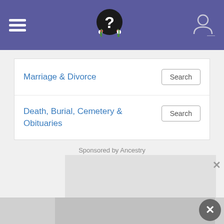Navigation header with hamburger menu, logo, and user icon
Marriage & Divorce
Search
Death, Burial, Cemetery & Obituaries
Search
Sponsored by Ancestry
[Figure (other): Advertisement placeholder (grey rectangle)]
[Figure (other): Close button circle with X]